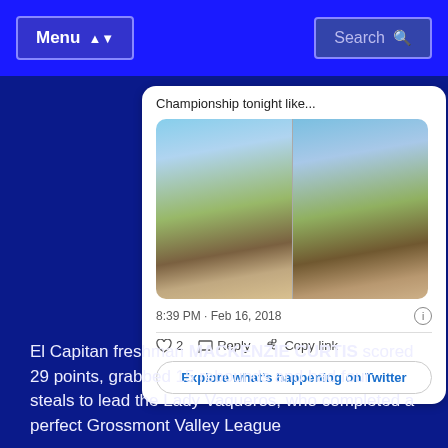Menu  Search
Championship tonight like...
[Figure (photo): Two side-by-side photos of a large group of young women outdoors, some climbing on poles/structures, under a blue sky.]
8:39 PM · Feb 16, 2018
♡ 2  Reply  Copy link
Explore what's happening on Twitter
El Capitan freshman MACKENZIE CURTIS scored 29 points, grabbed 15 rebounds and had four steals to lead the Lady Vaqueros, who completed a perfect Grossmont Valley League